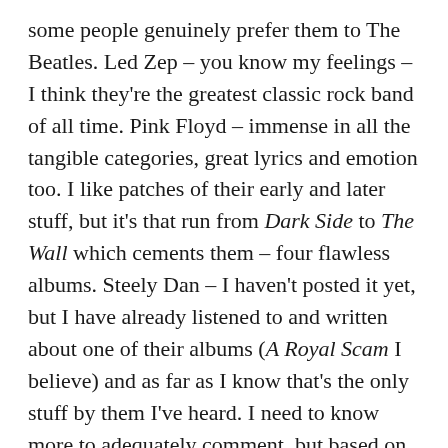some people genuinely prefer them to The Beatles. Led Zep – you know my feelings – I think they're the greatest classic rock band of all time. Pink Floyd – immense in all the tangible categories, great lyrics and emotion too. I like patches of their early and later stuff, but it's that run from Dark Side to The Wall which cements them – four flawless albums. Steely Dan – I haven't posted it yet, but I have already listened to and written about one of their albums (A Royal Scam I believe) and as far as I know that's the only stuff by them I've heard. I need to know more to adequately comment, but based on that single album they're not top tier. Queen are as big as they've ever been and their songs have already proven to stand the test of time. The Beatles I probably wouldn't have included here, but they were the turning point so it's fine. Either way you cut it, they're top tier anything. Lets take a look at my ranking: